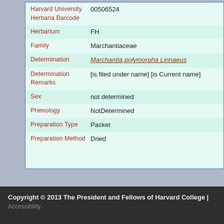| Field | Value |
| --- | --- |
| Harvard University Herbaria Barcode | 00506524 |
| Herbarium | FH |
| Family | Marchantiaceae |
| Determination | Marchantia polymorpha Linnaeus |
| Determination Remarks | [is filed under name] [is Current name] |
| Sex | not determined |
| Phenology | NotDetermined |
| Preparation Type | Packet |
| Preparation Method | Dried |
Copyright © 2013 The President and Fellows of Harvard College | Accessibility